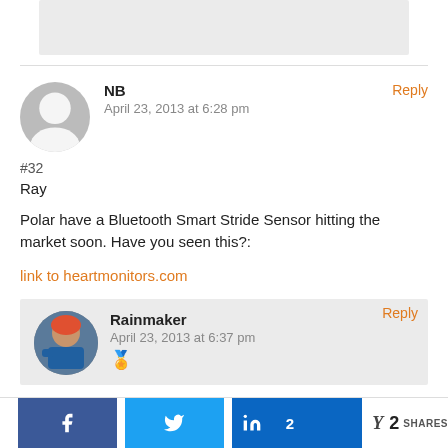[Figure (other): Grey placeholder box at top of page, partial view of previous comment block]
NB
April 23, 2013 at 6:28 pm
Reply
#32
Ray
Polar have a Bluetooth Smart Stride Sensor hitting the market soon. Have you seen this?:
link to heartmonitors.com
Reply
Rainmaker
April 23, 2013 at 6:37 pm